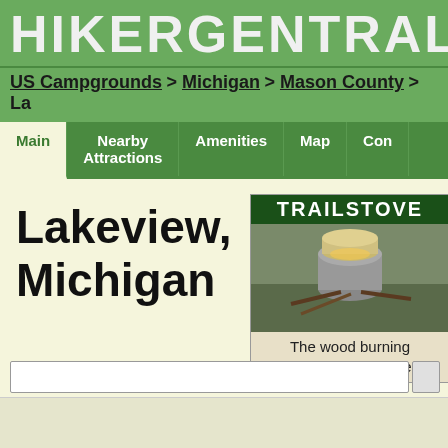HIKERCENTRAL
US Campgrounds > Michigan > Mason County > La...
Main | Nearby Attractions | Amenities | Map | Con...
Lakeview, Michigan
[Figure (photo): TRAILSTOVE advertisement - The wood burning backpacking stove, showing a metal stove with burning wood]
[Figure (illustration): Attractions icon - building/church icon]
[Figure (illustration): Store icon - shopping basket icon]